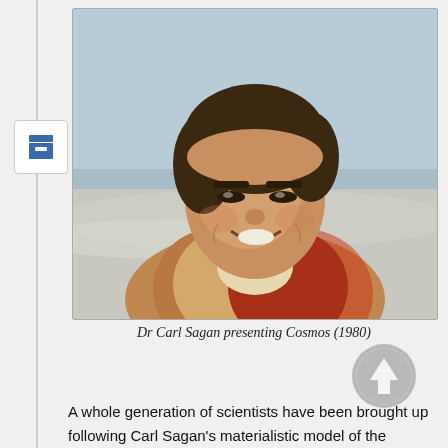[Figure (photo): Photo of Dr Carl Sagan smiling, wearing a brown/tan jacket, outdoors near water, still from Cosmos (1980)]
Dr Carl Sagan presenting Cosmos (1980)
A whole generation of scientists have been brought up following Carl Sagan's materialistic model of the universe.